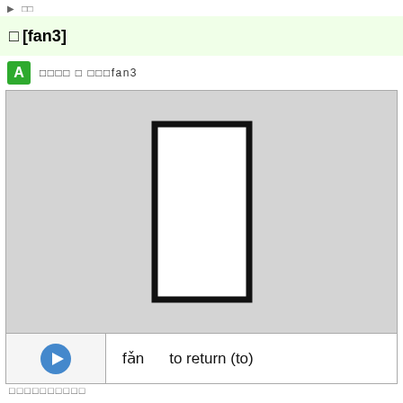返 [fan3]
A  □□□□ □ □□□fan3
[Figure (illustration): A gray display area showing a white rectangle with thick black border, representing a Chinese character stroke order or writing practice box]
fǎn    to return (to)
□□□□□□□□□□